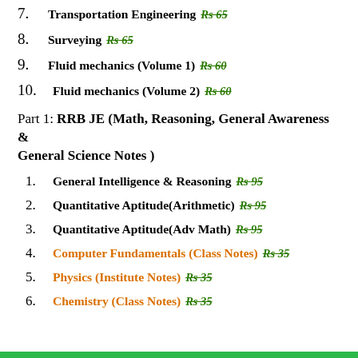7. Transportation Engineering Rs 65
8. Surveying Rs 65
9. Fluid mechanics (Volume 1) Rs 60
10. Fluid mechanics (Volume 2) Rs 60
Part 1: RRB JE (Math, Reasoning, General Awareness & General Science Notes )
1. General Intelligence & Reasoning Rs 95
2. Quantitative Aptitude(Arithmetic) Rs 95
3. Quantitative Aptitude(Adv Math) Rs 95
4. Computer Fundamentals (Class Notes) Rs 35
5. Physics (Institute Notes) Rs 35
6. Chemistry (Class Notes) Rs 35